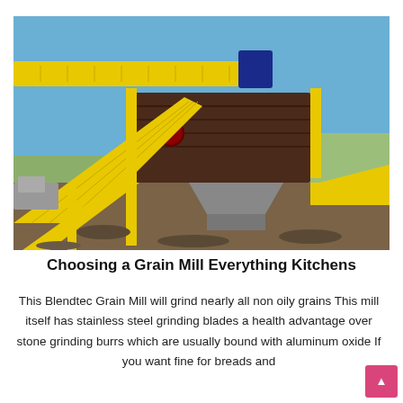[Figure (photo): Industrial grain mill / crusher machine with yellow frame, conveyor belts, and screening equipment, photographed outdoors on a clear day with blue sky and open landscape in the background.]
Choosing a Grain Mill Everything Kitchens
This Blendtec Grain Mill will grind nearly all non oily grains This mill itself has stainless steel grinding blades a health advantage over stone grinding burrs which are usually bound with aluminum oxide If you want fine for breads and